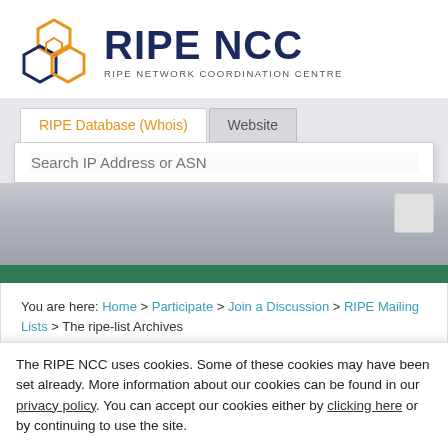[Figure (logo): RIPE NCC logo with hexagonal geometric icon in orange and blue, beside text 'RIPE NCC' in dark navy bold and subtitle 'RIPE NETWORK COORDINATION CENTRE']
RIPE Database (Whois)  Website
Search IP Address or ASN
You are here: Home > Participate > Join a Discussion > RIPE Mailing Lists > The ripe-list Archives
[ripe-list] RIPE Working
The RIPE NCC uses cookies. Some of these cookies may have been set already. More information about our cookies can be found in our privacy policy. You can accept our cookies either by clicking here or by continuing to use the site.